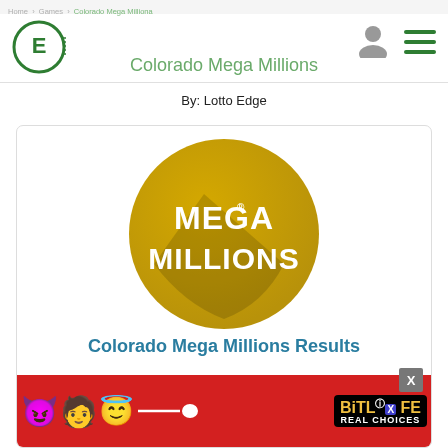Home > Games > Colorado Mega Milliona
[Figure (logo): Lotto Edge circular logo with letter E]
Colorado Mega Millions
By: Lotto Edge
[Figure (logo): Mega Millions golden circle logo with MEGA MILLIONS text]
Colorado Mega Millions Results
[Figure (screenshot): BitLife Real Choices advertisement banner]